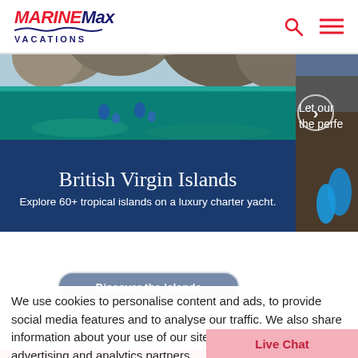[Figure (logo): MarineMax Vacations logo with red and navy text, wave graphic, and VACATIONS lettering]
[Figure (photo): Underwater/above water split view photo of snorkelers in clear turquoise water with large boulders above surface - British Virgin Islands]
British Virgin Islands
Explore 60+ tropical islands on a luxury charter yacht.
[Figure (photo): Partial right panel photo showing a yacht and person with snorkel fins]
Let our
the perfe
We use cookies to personalise content and ads, to provide social media features and to analyse our traffic. We also share information about your use of our site with our social media, advertising and analytics partners.
[Figure (other): Live Chat button in pink/rose color]